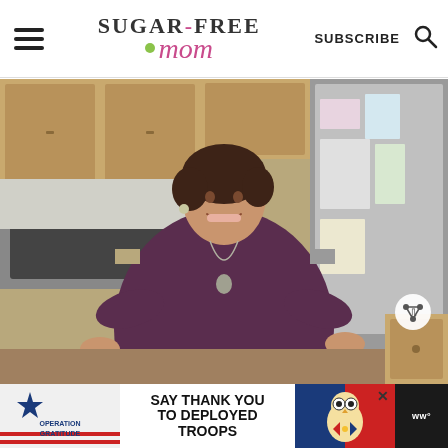SUGAR-FREE mom | SUBSCRIBE
[Figure (photo): A smiling woman with short dark hair standing in a kitchen, wearing a dark purple cold-shoulder sweater with a pendant necklace, hands on hips. Kitchen has wooden cabinets, stainless steel appliances, and a refrigerator with papers/notes attached.]
[Figure (infographic): Operation Gratitude advertisement banner: 'SAY THANK YOU TO DEPLOYED TROOPS' with patriotic imagery including a star-spangled banner and an owl graphic.]